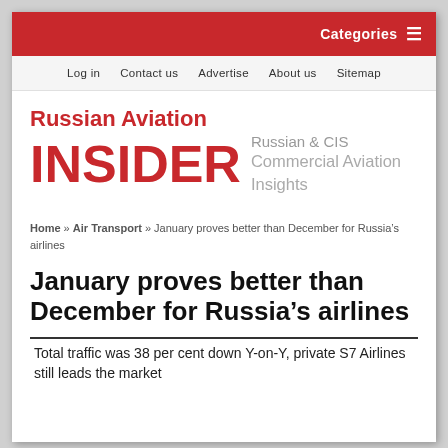Categories ☰
Log in   Contact us   Advertise   About us   Sitemap
Russian Aviation INSIDER — Russian & CIS Commercial Aviation Insights
Home » Air Transport » January proves better than December for Russia's airlines
January proves better than December for Russia's airlines
Total traffic was 38 per cent down Y-on-Y, private S7 Airlines still leads the market